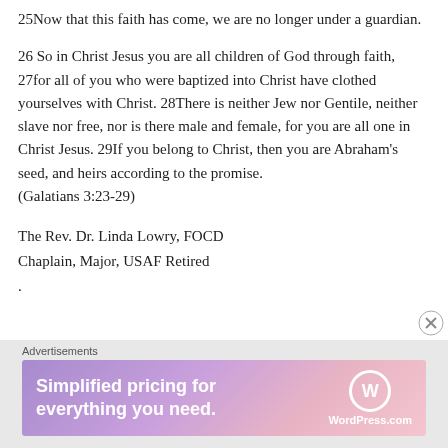25Now that this faith has come, we are no longer under a guardian.
26 So in Christ Jesus you are all children of God through faith, 27for all of you who were baptized into Christ have clothed yourselves with Christ. 28There is neither Jew nor Gentile, neither slave nor free, nor is there male and female, for you are all one in Christ Jesus. 29If you belong to Christ, then you are Abraham's seed, and heirs according to the promise.
(Galatians 3:23-29)
The Rev. Dr. Linda Lowry, FOCD
Chaplain, Major, USAF Retired
.
[Figure (infographic): WordPress.com advertisement banner with gradient purple-pink background. Text reads 'Simplified pricing for everything you need.' with WordPress.com logo on the right side. Labeled 'Advertisements' above.]